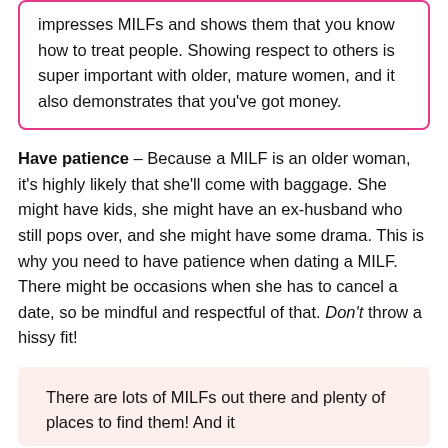impresses MILFs and shows them that you know how to treat people. Showing respect to others is super important with older, mature women, and it also demonstrates that you've got money.
Have patience – Because a MILF is an older woman, it's highly likely that she'll come with baggage. She might have kids, she might have an ex-husband who still pops over, and she might have some drama. This is why you need to have patience when dating a MILF. There might be occasions when she has to cancel a date, so be mindful and respectful of that. Don't throw a hissy fit!
There are lots of MILFs out there and plenty of places to find them! And it